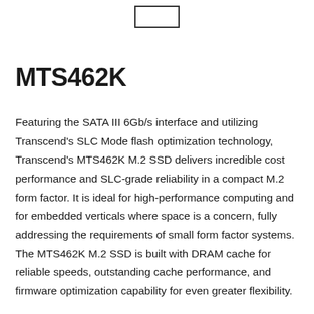[Figure (logo): Small rectangular logo/image placeholder box at top center]
MTS462K
Featuring the SATA III 6Gb/s interface and utilizing Transcend's SLC Mode flash optimization technology, Transcend's MTS462K M.2 SSD delivers incredible cost performance and SLC-grade reliability in a compact M.2 form factor. It is ideal for high-performance computing and for embedded verticals where space is a concern, fully addressing the requirements of small form factor systems. The MTS462K M.2 SSD is built with DRAM cache for reliable speeds, outstanding cache performance, and firmware optimization capability for even greater flexibility.